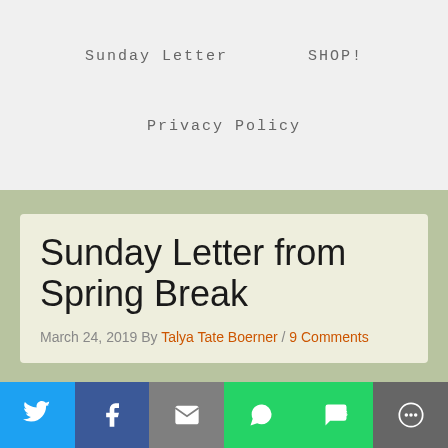Sunday Letter    SHOP!
Privacy Policy
Sunday Letter from Spring Break
March 24, 2019 By Talya Tate Boerner / 9 Comments